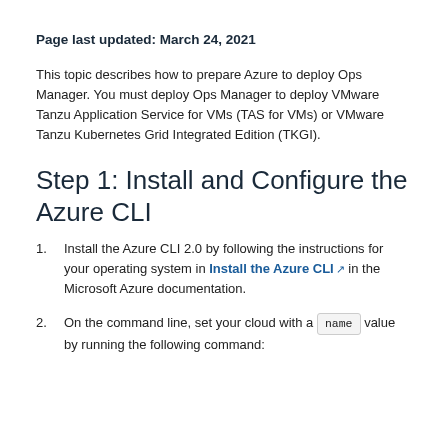Page last updated: March 24, 2021
This topic describes how to prepare Azure to deploy Ops Manager. You must deploy Ops Manager to deploy VMware Tanzu Application Service for VMs (TAS for VMs) or VMware Tanzu Kubernetes Grid Integrated Edition (TKGI).
Step 1: Install and Configure the Azure CLI
Install the Azure CLI 2.0 by following the instructions for your operating system in Install the Azure CLI in the Microsoft Azure documentation.
On the command line, set your cloud with a name value by running the following command: